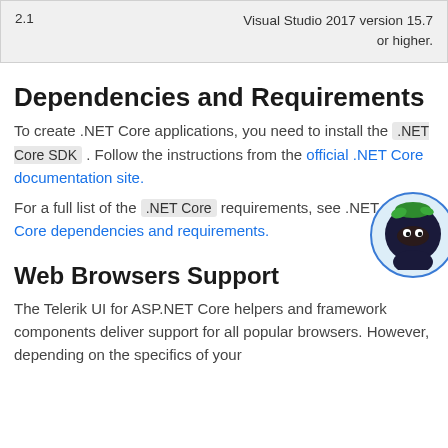| 2.1 | Visual Studio 2017 version 15.7 or higher. |
Dependencies and Requirements
To create .NET Core applications, you need to install the .NET Core SDK . Follow the instructions from the official .NET Core documentation site.
For a full list of the .NET Core requirements, see .NET Core dependencies and requirements.
[Figure (illustration): Ninja mascot illustration in a circular blue-bordered frame]
Web Browsers Support
The Telerik UI for ASP.NET Core helpers and framework components deliver support for all popular browsers. However, depending on the specifics of your